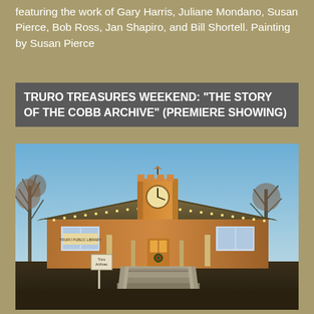featuring the work of Gary Harris, Juliane Mondano, Susan Pierce, Bob Ross, Jan Shapiro, and Bill Shortell. Painting by Susan Pierce
TRURO TREASURES WEEKEND: "THE STORY OF THE COBB ARCHIVE" (PREMIERE SHOWING)
[Figure (photo): Exterior photograph of a small brick building with a clock tower on top, taken at golden hour/dusk. The building has a wide front porch with decorative lights and stairs leading up to the entrance with railings on both sides. Bare trees are visible on the left and right. A sign post is visible near the bottom left of the stairs.]